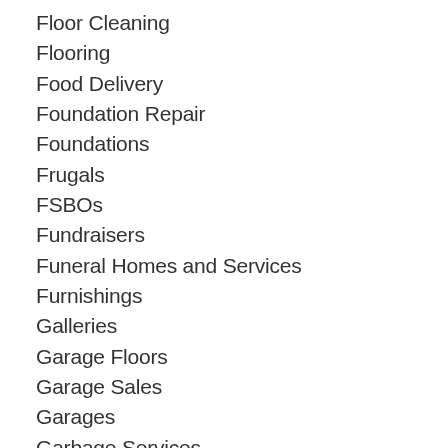Floor Cleaning
Flooring
Food Delivery
Foundation Repair
Foundations
Frugals
FSBOs
Fundraisers
Funeral Homes and Services
Furnishings
Galleries
Garage Floors
Garage Sales
Garages
Garbage Services